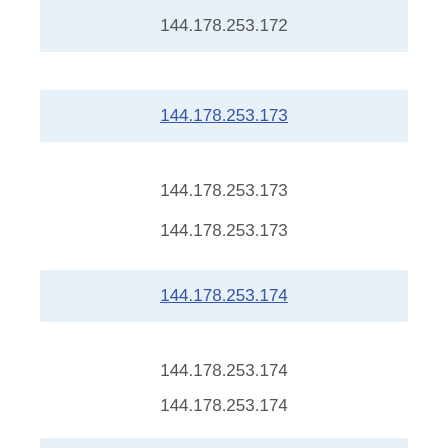144.178.253.172
144.178.253.173
144.178.253.173
144.178.253.173
144.178.253.174
144.178.253.174
144.178.253.174
144.178.253.175
144.178.253.175